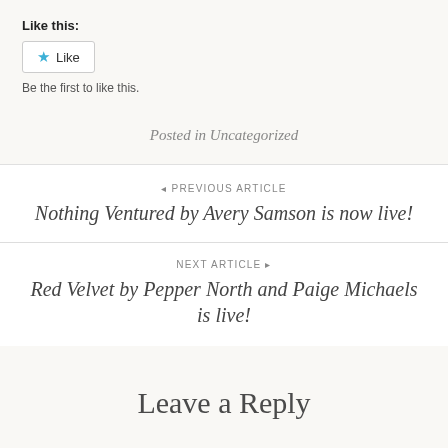Like this:
Like
Be the first to like this.
Posted in Uncategorized
◄ PREVIOUS ARTICLE
Nothing Ventured by Avery Samson is now live!
NEXT ARTICLE ►
Red Velvet by Pepper North and Paige Michaels is live!
Leave a Reply